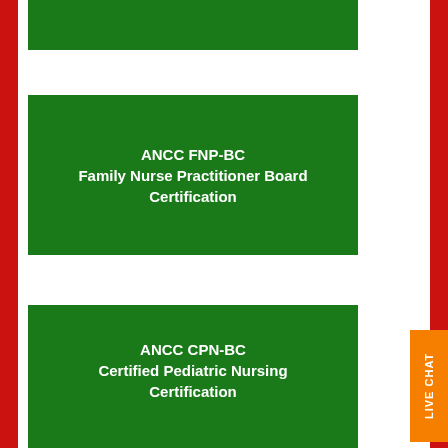[Figure (other): Green card banner at top (partially visible)]
[Figure (other): Green card: ANCC FNP-BC Family Nurse Practitioner Board Certification]
[Figure (other): Green card: ANCC CPN-BC Certified Pediatric Nursing Certification]
[Figure (other): Partial green card at bottom]
LIVE CHAT